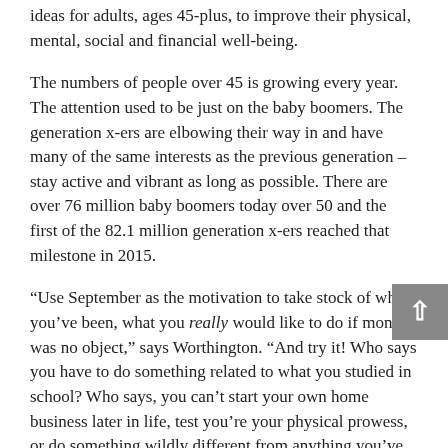ideas for adults, ages 45-plus, to improve their physical, mental, social and financial well-being.
The numbers of people over 45 is growing every year. The attention used to be just on the baby boomers. The generation x-ers are elbowing their way in and have many of the same interests as the previous generation – stay active and vibrant as long as possible. There are over 76 million baby boomers today over 50 and the first of the 82.1 million generation x-ers reached that milestone in 2015.
“Use September as the motivation to take stock of where you’ve been, what you really would like to do if money was no object,” says Worthington. “And try it! Who says you have to do something related to what you studied in school? Who says, you can’t start your own home business later in life, test you’re your physical prowess, or do something wildly different from anything you’ve done before? Only that person you see in the mirror!”
Healthy Aging Month?